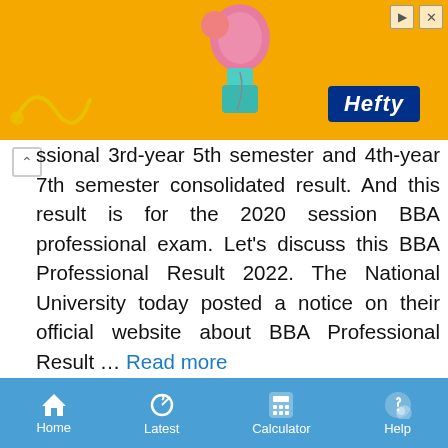[Figure (photo): Orange advertisement banner with Hefty logo and decorative items, with close/navigate buttons in top right corner]
ssional 3rd-year 5th semester and 4th-year 7th semester consolidated result. And this result is for the 2020 session BBA professional exam. Let’s discuss this BBA Professional Result 2022. The National University today posted a notice on their official website about BBA Professional Result ... Read more
NU Honours 4th Year CGPA Result 2022
Home  Latest  Calculator  Help